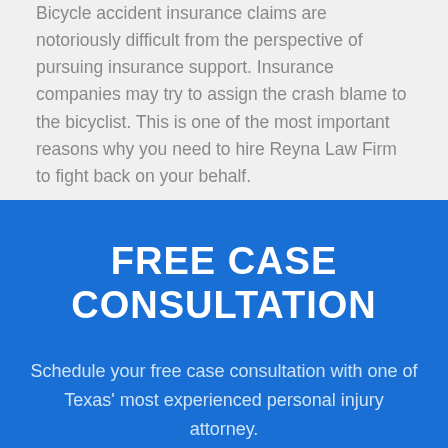Bicycle accident insurance claims are notoriously difficult from the perspective of pursuing insurance support. Insurance companies may try to assign the crash blame to the bicyclist. This is one of the most important reasons why you need to hire Reyna Law Firm to fight back on your behalf.
FREE CASE CONSULTATION
Schedule your free case consultation with one of Texas' most experienced personal injury attorney.